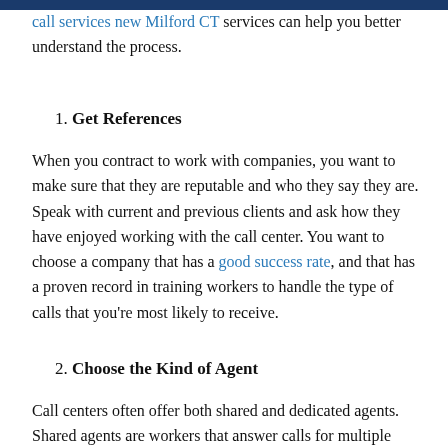call services new Milford CT services can help you better understand the process.
1. Get References
When you contract to work with companies, you want to make sure that they are reputable and who they say they are. Speak with current and previous clients and ask how they have enjoyed working with the call center. You want to choose a company that has a good success rate, and that has a proven record in training workers to handle the type of calls that you're most likely to receive.
2. Choose the Kind of Agent
Call centers often offer both shared and dedicated agents. Shared agents are workers that answer calls for multiple companies, while dedicated means that the workers only